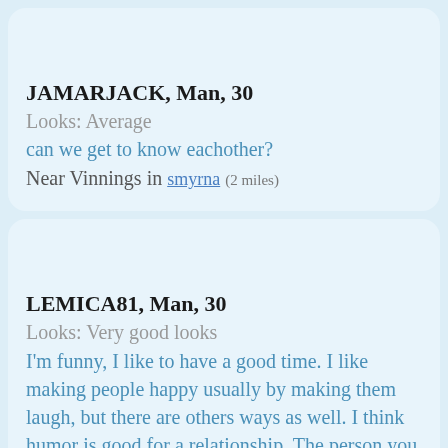JAMARJACK, Man, 30
Looks: Average
can we get to know eachother?
Near Vinnings in smyrna (2 miles)
LEMICA81, Man, 30
Looks: Very good looks
I'm funny, I like to have a good time. I like making people happy usually by making them laugh, but there are others ways as well. I think humor is good for a relationship. The person you are dating should be your best friend they